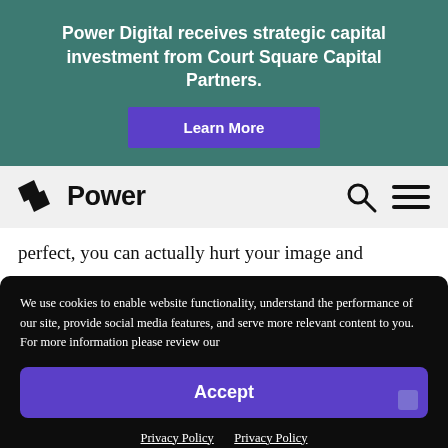Power Digital receives strategic capital investment from Court Square Capital Partners.
Learn More
[Figure (logo): Power Digital logo with stylized flag icon and wordmark 'Power', with search and hamburger menu icons on the right]
perfect, you can actually hurt your image and
We use cookies to enable website functionality, understand the performance of our site, provide social media features, and serve more relevant content to you. For more information please review our
Accept
Privacy Policy  Privacy Policy